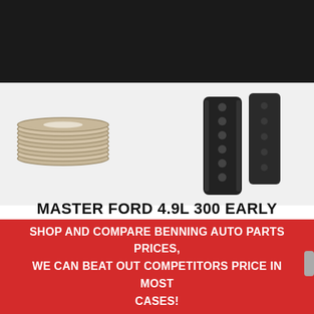[Figure (logo): Benning Auto Parts & Machine Shop logo with racing flags and engine imagery on dark background]
[Figure (photo): Product photo showing engine master kit components including steel shims/washers and a timing chain guide rail]
MASTER FORD 4.9L 300 EARLY
$385.62
ADD TO CART
SHOP AND COMPARE BENNING AUTO PARTS PRICES, WE CAN BEAT OUT COMPETITORS PRICE IN MOST CASES!